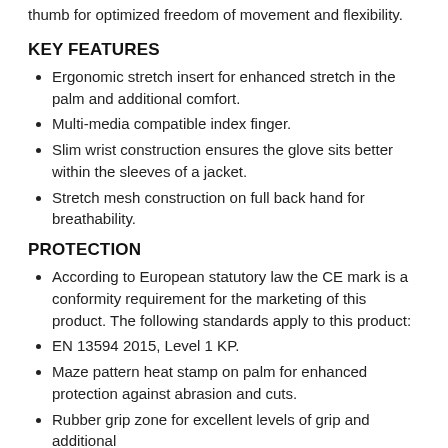thumb for optimized freedom of movement and flexibility.
KEY FEATURES
Ergonomic stretch insert for enhanced stretch in the palm and additional comfort.
Multi-media compatible index finger.
Slim wrist construction ensures the glove sits better within the sleeves of a jacket.
Stretch mesh construction on full back hand for breathability.
PROTECTION
According to European statutory law the CE mark is a conformity requirement for the marketing of this product. The following standards apply to this product:
EN 13594 2015, Level 1 KP.
Maze pattern heat stamp on palm for enhanced protection against abrasion and cuts.
Rubber grip zone for excellent levels of grip and additional